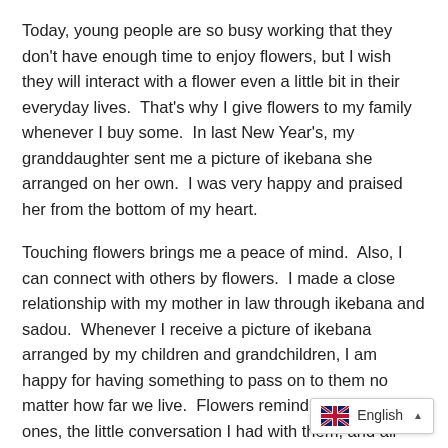Today, young people are so busy working that they don't have enough time to enjoy flowers, but I wish they will interact with a flower even a little bit in their everyday lives.  That's why I give flowers to my family whenever I buy some.  In last New Year's, my granddaughter sent me a picture of ikebana she arranged on her own.  I was very happy and praised her from the bottom of my heart.
Touching flowers brings me a peace of mind.  Also, I can connect with others by flowers.  I made a close relationship with my mother in law through ikebana and sadou.  Whenever I receive a picture of ikebana arranged by my children and grandchildren, I am happy for having something to pass on to them no matter how far we live.  Flowers remind me of my loved ones, the little conversation I had with them, and all those wonderful memories.  I sometimes feel that i          if while facing the flowers.